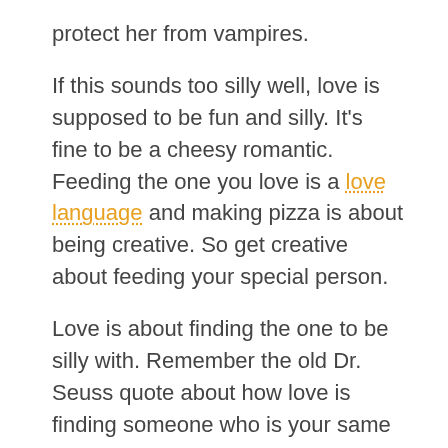protect her from vampires.
If this sounds too silly well, love is supposed to be fun and silly. It’s fine to be a cheesy romantic. Feeding the one you love is a love language and making pizza is about being creative. So get creative about feeding your special person.
Love is about finding the one to be silly with. Remember the old Dr. Seuss quote about how love is finding someone who is your same kind of weird.
Making pizza for date night should be a fun way to show them how much they mean to you.
Whether you are in a new relationship or an